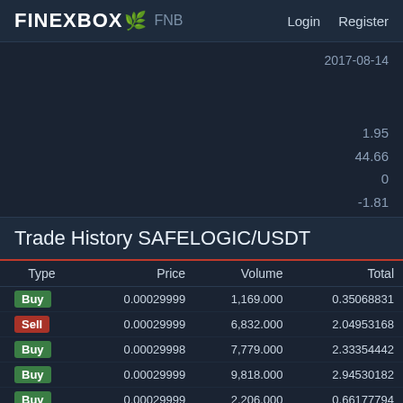FINEXBOX FNB  Login  Register
2017-08-14
1.95
44.66
0
-1.81
Trade History SAFELOGIC/USDT
| Type | Price | Volume | Total |
| --- | --- | --- | --- |
| Buy | 0.00029999 | 1,169.000 | 0.35068831 |
| Sell | 0.00029999 | 6,832.000 | 2.04953168 |
| Buy | 0.00029998 | 7,779.000 | 2.33354442 |
| Buy | 0.00029999 | 9,818.000 | 2.94530182 |
| Buy | 0.00029999 | 2,206.000 | 0.66177794 |
| Sell | 0.00029999 | 5,444.000 | 1.63314556 |
| Buy | 0.00029998 | 1,068.000 | 0.32037864 |
| Buy | 0.00029999 | 8,202.000 | 2.46051798 |
| Sell | 0.00029998 | 1,783.000 | 0.53486434 |
| Sell | 0.00029999 | 8,625.000 | 2.58741375 |
| Buy | 0.00029999 | 5,553.000 | 1.6655449 |